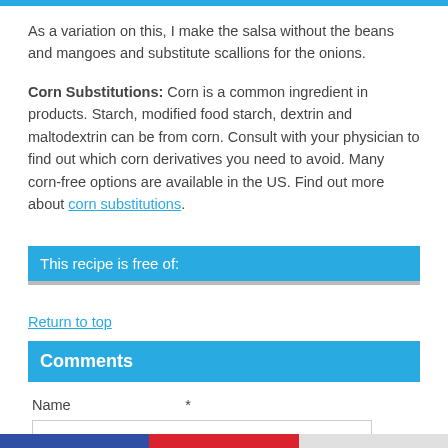As a variation on this, I make the salsa without the beans and mangoes and substitute scallions for the onions.
Corn Substitutions: Corn is a common ingredient in products. Starch, modified food starch, dextrin and maltodextrin can be from corn. Consult with your physician to find out which corn derivatives you need to avoid. Many corn-free options are available in the US. Find out more about corn substitutions.
This recipe is free of:
Return to top
Comments
Name *